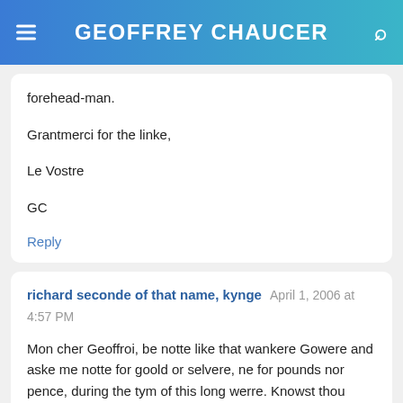GEOFFREY CHAUCER
forehead-man.

Grantmerci for the linke,

Le Vostre

GC
Reply
richard seconde of that name, kynge April 1, 2006 at 4:57 PM
Mon cher Geoffroi, be notte like that wankere Gowere and aske me notte for goold or selvere, ne for pounds nor pence, during the tym of this long werre. Knowst thou notte, from thyn werke at the costoumes hous, thatte alle myn revenue be